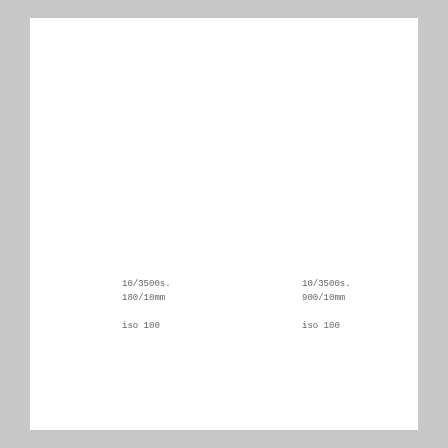10/3500s.
180/10mm

iso 100
10/3500s.
900/10mm

iso 100